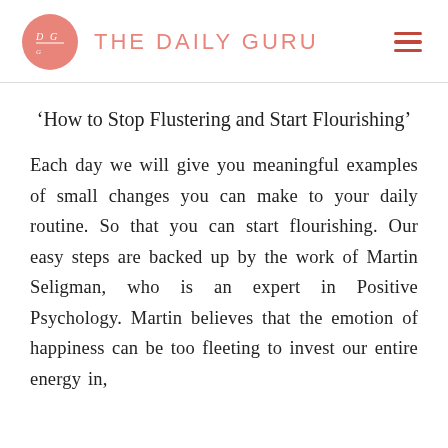THE DAILY GURU
‘How to Stop Flustering and Start Flourishing’
Each day we will give you meaningful examples of small changes you can make to your daily routine. So that you can start flourishing. Our easy steps are backed up by the work of Martin Seligman, who is an expert in Positive Psychology. Martin believes that the emotion of happiness can be too fleeting to invest our entire energy in, but...